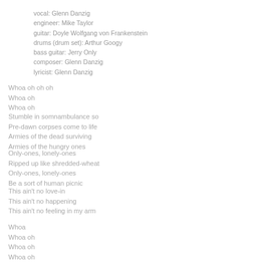vocal: Glenn Danzig
engineer: Mike Taylor
guitar: Doyle Wolfgang von Frankenstein
drums (drum set): Arthur Googy
bass guitar: Jerry Only
composer: Glenn Danzig
lyricist: Glenn Danzig
Whoa oh oh oh
Whoa oh
Whoa oh
Stumble in somnambulance so
Pre-dawn corpses come to life
Armies of the dead surviving
Armies of the hungry ones
Only-ones, lonely-ones
Ripped up like shredded-wheat
Only-ones, lonely-ones
Be a sort of human picnic
This ain't no love-in
This ain't no happening
This ain't no feeling in my arm
Whoa
Whoa oh
Whoa oh
Whoa oh